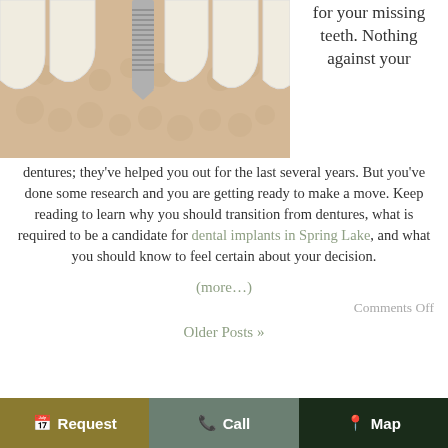[Figure (illustration): Cross-section illustration of dental implant showing a metal screw inserted into jaw bone with surrounding teeth]
for your missing teeth. Nothing against your dentures; they've helped you out for the last several years. But you've done some research and you are getting ready to make a move. Keep reading to learn why you should transition from dentures, what is required to be a candidate for dental implants in Spring Lake, and what you should know to feel certain about your decision.
(more…)
Comments Off
Older Posts »
Request   Call   Map